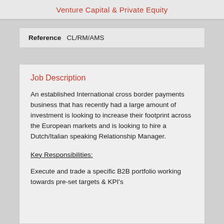Venture Capital & Private Equity
Reference   CL/RM/AMS
Job Description
An established International cross border payments business that has recently had a large amount of investment is looking to increase their footprint across the European markets and is looking to hire a Dutch/Italian speaking Relationship Manager.
Key Responsibilities:
Execute and trade a specific B2B portfolio working towards pre-set targets & KPI's